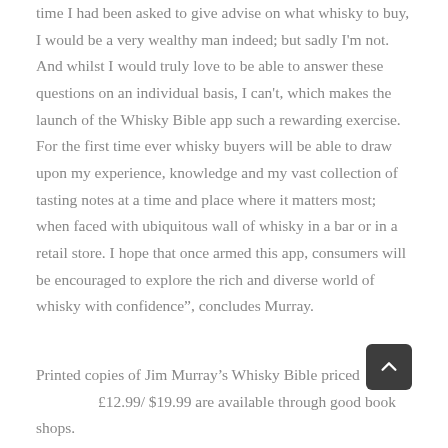time I had been asked to give advise on what whisky to buy, I would be a very wealthy man indeed; but sadly I'm not. And whilst I would truly love to be able to answer these questions on an individual basis, I can't, which makes the launch of the Whisky Bible app such a rewarding exercise. For the first time ever whisky buyers will be able to draw upon my experience, knowledge and my vast collection of tasting notes at a time and place where it matters most; when faced with ubiquitous wall of whisky in a bar or in a retail store. I hope that once armed this app, consumers will be encouraged to explore the rich and diverse world of whisky with confidence”, concludes Murray.
Printed copies of Jim Murray’s Whisky Bible priced £12.99/ $19.99 are available through good book shops.